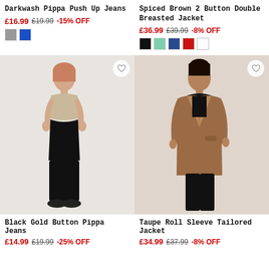Darkwash Pippa Push Up Jeans
£16.99  £19.99  -15% OFF
[Figure (photo): Model wearing dark wash black skinny jeans with a beige crop top and black sneakers, standing against a light grey background]
Spiced Brown 2 Button Double Breasted Jacket
£36.99  £39.99  -8% OFF
[Figure (photo): Model wearing a spiced brown double breasted blazer jacket over a black crop top with black leather-look trousers]
Black Gold Button Pippa Jeans
£14.99  £19.99  -25% OFF
Taupe Roll Sleeve Tailored Jacket
£34.99  £37.99  -8% OFF